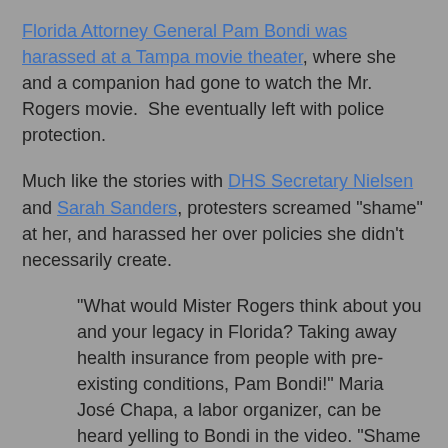Florida Attorney General Pam Bondi was harassed at a Tampa movie theater, where she and a companion had gone to watch the Mr. Rogers movie.  She eventually left with police protection.
Much like the stories with DHS Secretary Nielsen and Sarah Sanders, protesters screamed "shame" at her, and harassed her over policies she didn't necessarily create.
"What would Mister Rogers think about you and your legacy in Florida? Taking away health insurance from people with pre-existing conditions, Pam Bondi!" Maria José Chapa, a labor organizer, can be heard yelling to Bondi in the video. "Shame on you!"
"You're a horrible person!" another protester shouts.
For the record, should anybody care, I've been against protesting officials when they're not at their jobs as long as this blog has been here. It came up in my first year bloggin...